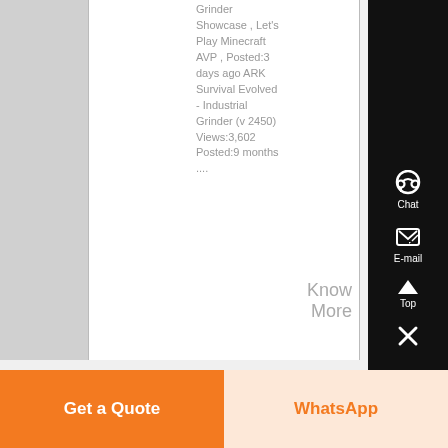Grinder Showcase , Let's Play Minecraft AVP , Posted:3 days ago ARK Survival Evolved - Industrial Grinder (v 2450) Views:3,602 Posted:9 months ....
Know More
[Figure (screenshot): Right sidebar with chat headset icon labeled Chat, email/edit icon labeled E-mail, and upward triangle labeled Top, and X button]
Get a Quote
WhatsApp